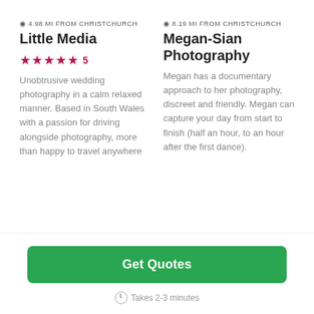4.98 MI FROM CHRISTCHURCH
Little Media
★★★★★  5
Unobtrusive wedding photography in a calm relaxed manner. Based in South Wales with a passion for driving alongside photography, more than happy to travel anywhere
8.19 MI FROM CHRISTCHURCH
Megan-Sian Photography
Megan has a documentary approach to her photography, discreet and friendly. Megan can capture your day from start to finish (half an hour, to an hour after the first dance).
Get Quotes
Takes 2-3 minutes